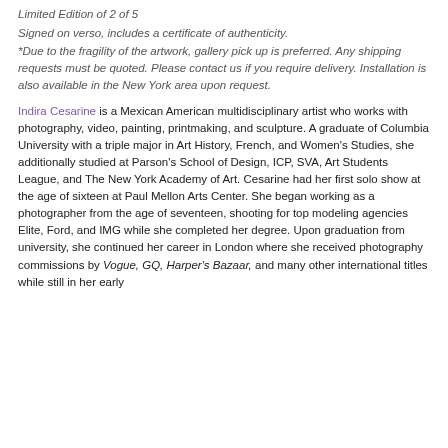Limited Edition of 2 of 5
Signed on verso, includes a certificate of authenticity.
*Due to the fragility of the artwork, gallery pick up is preferred. Any shipping requests must be quoted. Please contact us if you require delivery. Installation is also available in the New York area upon request.
Indira Cesarine is a Mexican American multidisciplinary artist who works with photography, video, painting, printmaking, and sculpture. A graduate of Columbia University with a triple major in Art History, French, and Women's Studies, she additionally studied at Parson's School of Design, ICP, SVA, Art Students League, and The New York Academy of Art. Cesarine had her first solo show at the age of sixteen at Paul Mellon Arts Center. She began working as a photographer from the age of seventeen, shooting for top modeling agencies Elite, Ford, and IMG while she completed her degree. Upon graduation from university, she continued her career in London where she received photography commissions by Vogue, GQ, Harper's Bazaar, and many other international titles while still in her early